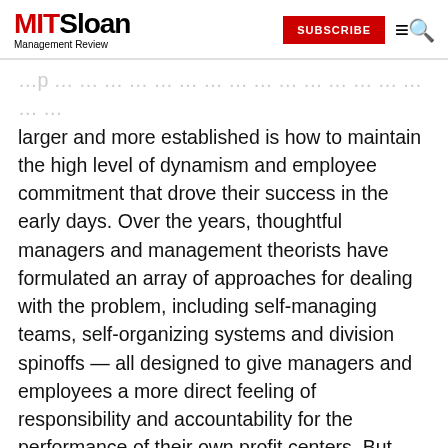MIT Sloan Management Review — SUBSCRIBE
larger and more established is how to maintain the high level of dynamism and employee commitment that drove their success in the early days. Over the years, thoughtful managers and management theorists have formulated an array of approaches for dealing with the problem, including self-managing teams, self-organizing systems and division spinoffs — all designed to give managers and employees a more direct feeling of responsibility and accountability for the performance of their own profit centers. But very few companies have taken things as far as Kyocera Corp.
Founded in 1959 as Kyoto Ceramic Co. Ltd., Kyocera, headquartered in Kyoto, Japan, produces a range of